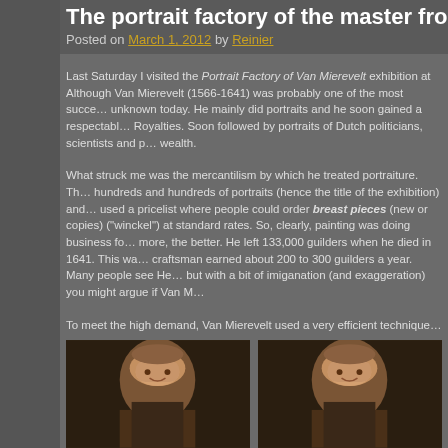The portrait factory of the master from
Posted on March 1, 2012 by Reinier
Last Saturday I visited the Portrait Factory of Van Mierevelt exhibition at... Although Van Mierevelt (1566-1641) was probably one of the most succe... unknown today. He mainly did portraits and he soon gained a respectabl... Royalties. Soon followed by portraits of Dutch politicians, scientists and p... wealth.
What struck me was the mercantilism by which he treated portraiture. Th... hundreds and hundreds of portraits (hence the title of the exhibition) and... used a pricelist where people could order breast pieces (new or copies) ("winckel") at standard rates. So, clearly, painting was doing business for... more, the better. He left 133,000 guilders when he died in 1641. This wa... craftsman earned about 200 to 300 guilders a year. Many people see He... but with a bit of imiganation (and exaggeration) you might argue if Van M...
To meet the high demand, Van Mierevelt used a very efficient technique... things he used, were templates. He made a template of the main charac... make copies and also to make "new" portraits of that same person over t... Maurice as painted by Van Mierevelt in 1607 on the left. Next to it you se... Prince Maurice would have posed a second time. Wrong! Van Mierevelt ... on the right) to get the characteristics of his face and just aged it a bit. If y...
[Figure (photo): Portrait painting of a person, historical Dutch portrait]
[Figure (photo): Portrait painting of a person, historical Dutch portrait]